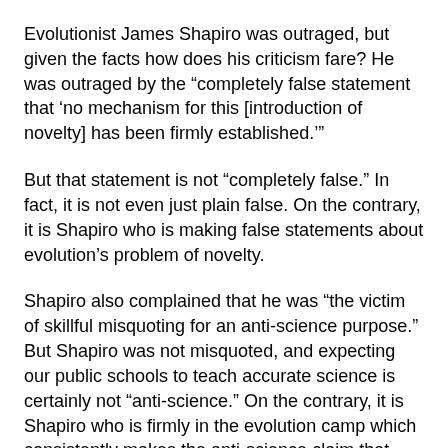Evolutionist James Shapiro was outraged, but given the facts how does his criticism fare? He was outraged by the “completely false statement that ‘no mechanism for this [introduction of novelty] has been firmly established.’”
But that statement is not “completely false.” In fact, it is not even just plain false. On the contrary, it is Shapiro who is making false statements about evolution’s problem of novelty.
Shapiro also complained that he was “the victim of skillful misquoting for an anti-science purpose.” But Shapiro was not misquoted, and expecting our public schools to teach accurate science is certainly not “anti-science.” On the contrary, it is Shapiro who is firmly in the evolution camp which consistently makes the anti-science claim that evolution is a fact.
Shapiro also complained that these opponents of evolution are “trying to confuse and mislead the public,” and are “against freedom of speech in scientific research, honesty in